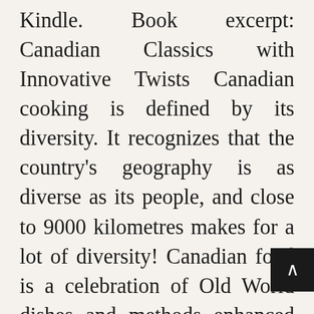Kindle. Book excerpt: Canadian Classics with Innovative Twists Canadian cooking is defined by its diversity. It recognizes that the country's geography is as diverse as its people, and close to 9000 kilometres makes for a lot of diversity! Canadian food is a celebration of Old World dishes and methods enhanced by New World ingredients; recipes that have been passed on through the generations but incorporate today's fresh, exciting ingredients that would not have been available to our ancestors. We have reacquainted ourselves with First Nations cuisine and are more than ever embracing the traditional foods that Canada's first settlers brought with